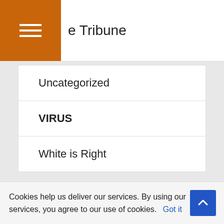e Tribune
Uncategorized
VIRUS
White is Right
Cookies help us deliver our services. By using our services, you agree to our use of cookies. Got it